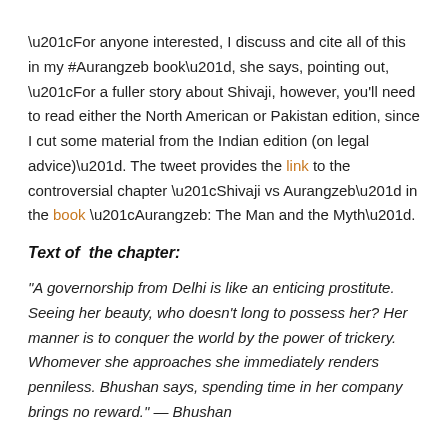“For anyone interested, I discuss and cite all of this in my #Aurangzeb book”, she says, pointing out, “For a fuller story about Shivaji, however, you’ll need to read either the North American or Pakistan edition, since I cut some material from the Indian edition (on legal advice)”. The tweet provides the link to the controversial chapter “Shivaji vs Aurangzeb” in the book “Aurangzeb: The Man and the Myth”.
Text of  the chapter:
"A governorship from Delhi is like an enticing prostitute. Seeing her beauty, who doesn’t long to possess her? Her manner is to conquer the world by the power of trickery. Whomever she approaches she immediately renders penniless. Bhushan says, spending time in her company brings no reward.” — Bhushan